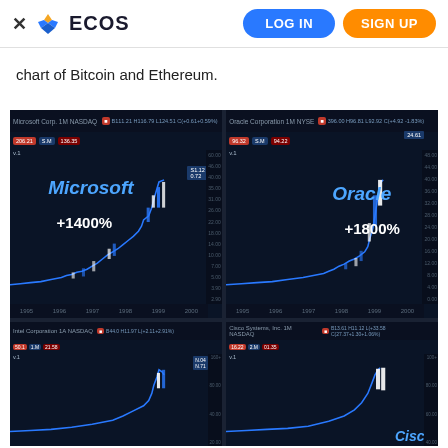ECOS  LOG IN  SIGN UP
chart of Bitcoin and Ethereum.
[Figure (screenshot): Four stock chart panels showing Microsoft (+1400%), Oracle (+1800%), Intel Corporation, and Cisco Systems historical price charts on dark background trading interface.]